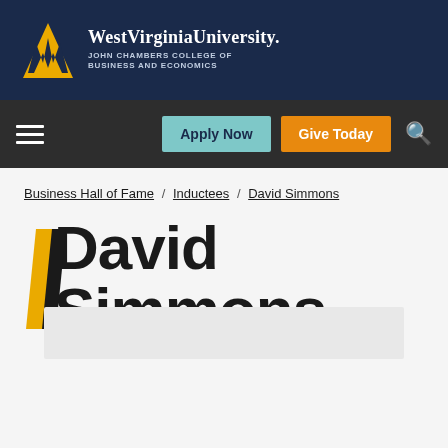[Figure (logo): West Virginia University – John Chambers College of Business and Economics logo with WVU monogram in gold and white on dark navy background]
Apply Now | Give Today | Search
Business Hall of Fame / Inductees / David Simmons
David Simmons
[Figure (photo): Partial photo of David Simmons at bottom of page]